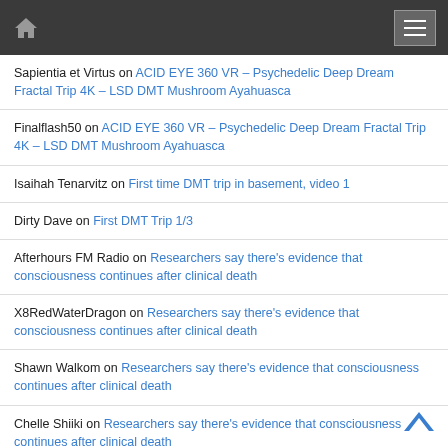Navigation bar with home icon and menu button
Sapientia et Virtus on ACID EYE 360 VR – Psychedelic Deep Dream Fractal Trip 4K – LSD DMT Mushroom Ayahuasca
Finalflash50 on ACID EYE 360 VR – Psychedelic Deep Dream Fractal Trip 4K – LSD DMT Mushroom Ayahuasca
Isaihah Tenarvitz on First time DMT trip in basement, video 1
Dirty Dave on First DMT Trip 1/3
Afterhours FM Radio on Researchers say there's evidence that consciousness continues after clinical death
X8RedWaterDragon on Researchers say there's evidence that consciousness continues after clinical death
Shawn Walkom on Researchers say there's evidence that consciousness continues after clinical death
Chelle Shiiki on Researchers say there's evidence that consciousness continues after clinical death
gmonk003 on Researchers say there's evidence that